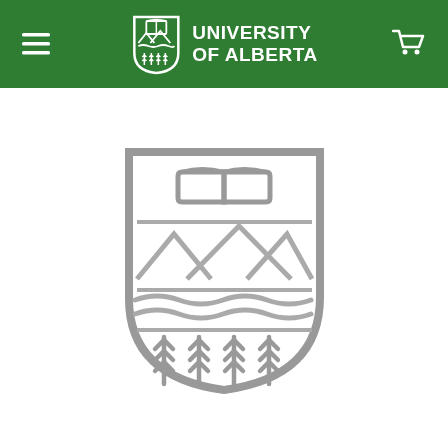University of Alberta
[Figure (logo): University of Alberta crest/shield logo in grayscale. Shield contains an open book at top, mountain peaks in the middle, wavy river lines, and four chevron/wheat sheaf symbols at the bottom. Rendered in gray tones on white background.]